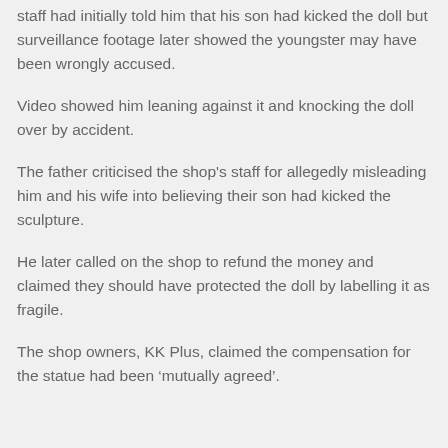staff had initially told him that his son had kicked the doll but surveillance footage later showed the youngster may have been wrongly accused.
Video showed him leaning against it and knocking the doll over by accident.
The father criticised the shop's staff for allegedly misleading him and his wife into believing their son had kicked the sculpture.
He later called on the shop to refund the money and claimed they should have protected the doll by labelling it as fragile.
The shop owners, KK Plus, claimed the compensation for the statue had been ‘mutually agreed’.